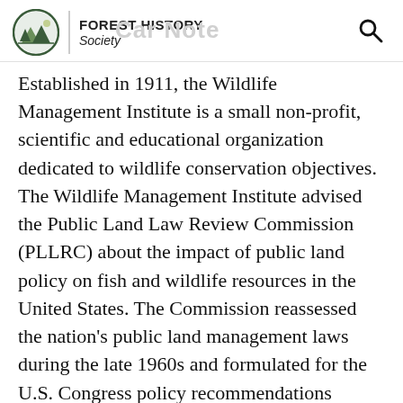FOREST HISTORY Society
Established in 1911, the Wildlife Management Institute is a small non-profit, scientific and educational organization dedicated to wildlife conservation objectives. The Wildlife Management Institute advised the Public Land Law Review Commission (PLLRC) about the impact of public land policy on fish and wildlife resources in the United States. The Commission reassessed the nation's public land management laws during the late 1960s and formulated for the U.S. Congress policy recommendations concerning the management and utilization of public domain lands.